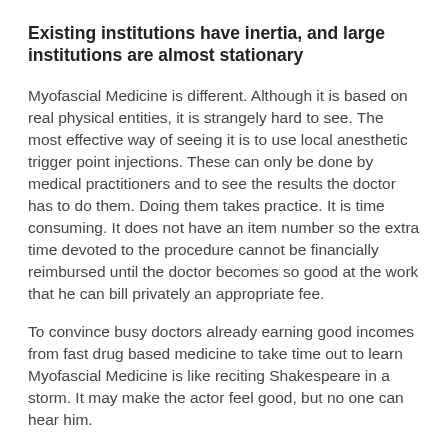Existing institutions have inertia, and large institutions are almost stationary
Myofascial Medicine is different. Although it is based on real physical entities, it is strangely hard to see. The most effective way of seeing it is to use local anesthetic trigger point injections. These can only be done by medical practitioners and to see the results the doctor has to do them. Doing them takes practice. It is time consuming. It does not have an item number so the extra time devoted to the procedure cannot be financially reimbursed until the doctor becomes so good at the work that he can bill privately an appropriate fee.
To convince busy doctors already earning good incomes from fast drug based medicine to take time out to learn Myofascial Medicine is like reciting Shakespeare in a storm. It may make the actor feel good, but no one can hear him.
Most of the advance work is being done by a devoted number of non doctor therapists; nurses, physiotherapists, occupational therapists, massours etc. Those people are